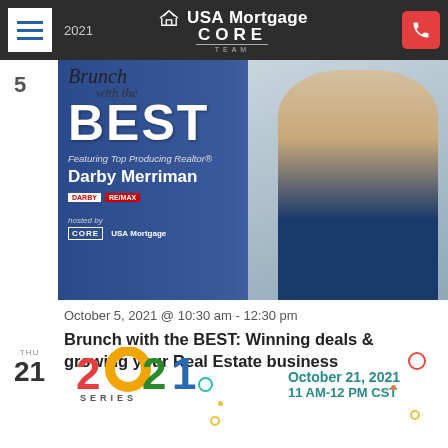USA Mortgage | CORE TEAM
[Figure (photo): Event promotional banner for 'Brunch with the BEST' featuring Top Producing Realtor Darby Merriman, hosted by CORE and USA Mortgage. Shows woman with blonde hair in navy blazer.]
October 5, 2021 @ 10:30 am - 12:30 pm
Brunch with the BEST: Winning deals & growing your Real Estate business
[Figure (logo): 2021 Series logo with colorful numbers]
October 21, 2021
11 AM-12 PM CST